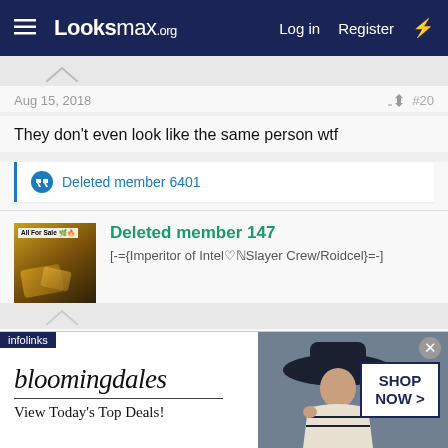Looksmax.org — Log in | Register
Aug 15, 2018  #20
They don't even look like the same person wtf
Deleted member 6401
Deleted member 147
[-={Imperitor of Intel♡𝕊Slayer Crew/Roidcel}=-]
Aug 18, 2018  #21
[Figure (screenshot): Bloomingdales advertisement banner with woman in hat, 'View Today's Top Deals!' text and 'SHOP NOW >' button]